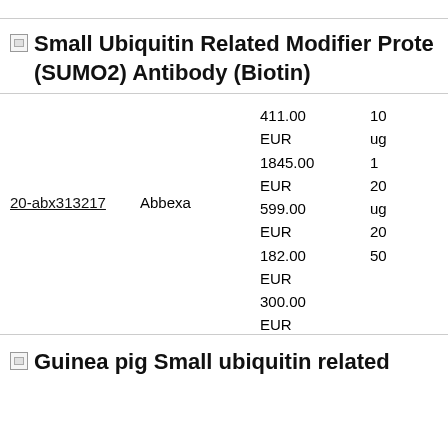Small Ubiquitin Related Modifier Prote (SUMO2) Antibody (Biotin)
| ID | Supplier | Price | Quantity |
| --- | --- | --- | --- |
| 20-abx313217 | Abbexa | 411.00 EUR | 10 ug |
| 20-abx313217 | Abbexa | 1845.00 EUR | 1 |
| 20-abx313217 | Abbexa | 599.00 EUR | 20 ug |
| 20-abx313217 | Abbexa | 182.00 EUR | 20 |
| 20-abx313217 | Abbexa | 300.00 EUR | 50 |
Guinea pig Small ubiquitin related